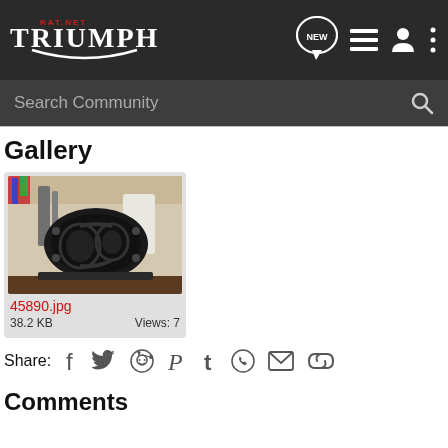RAT.NET TRIUMPH — Navigation bar with NEW, list, user, and menu icons
Search Community
Gallery
[Figure (photo): Photo of a motorcycle engine part (primary chain case cover) with black gasket visible, sitting on a workbench with tools in background]
45890.jpg
38.2 KB    Views: 7
Share:  f  (Twitter bird)  (Reddit)  (Pinterest)  (Tumblr)  (WhatsApp)  (Mail)  (Link)
Comments